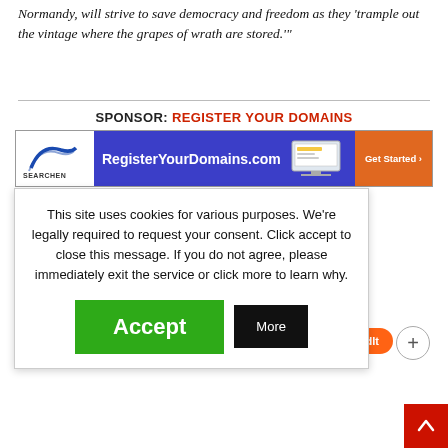Normandy, will strive to save democracy and freedom as they 'trample out the vintage where the grapes of wrath are stored.'"
SPONSOR: REGISTER YOUR DOMAINS
[Figure (screenshot): Advertisement banner for RegisterYourDomains.com with Searchen logo on left, domain name text in center on blue background, laptop screen graphic, and orange Get Started button on right]
This site uses cookies for various purposes. We're legally required to request your consent. Click accept to close this message. If you do not agree, please immediately exit the service or click more to learn why.
[Figure (screenshot): Green Accept button and black More button for cookie consent dialog]